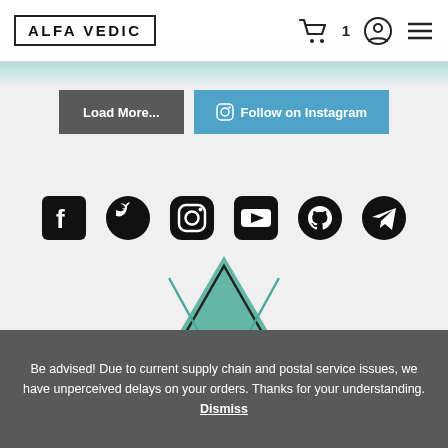ALFA VEDIC — navigation header with logo, cart (1), account, and menu icons
[Figure (screenshot): Two buttons side by side: 'Load More...' (dark grey) and 'Follow on Instagram' (blue with Instagram icon)]
[Figure (infographic): Row of six social media icons: Facebook, Twitter, Instagram, YouTube, GitHub, Telegram — all black circular icons]
[Figure (logo): Alfa Vedic logo: geometric AV monogram in teal/dark outline, triangle and inverted triangle combined]
Be advised! Due to current supply chain and postal service issues, we have unperceived delays on your orders. Thanks for your understanding. Dismiss